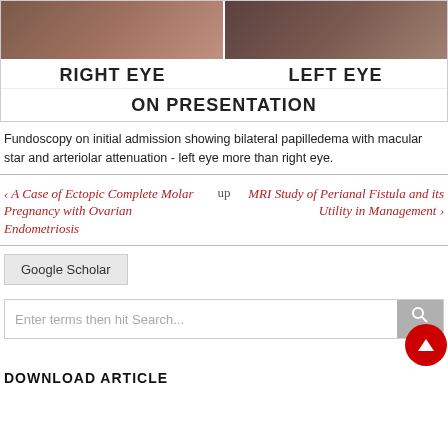[Figure (photo): Fundoscopy images of right eye and left eye on presentation showing bilateral papilledema with macular star and arteriolar attenuation]
Fundoscopy on initial admission showing bilateral papilledema with macular star and arteriolar attenuation - left eye more than right eye.
‹ A Case of Ectopic Complete Molar Pregnancy with Ovarian Endometriosis
up
MRI Study of Perianal Fistula and its Utility in Management ›
Google Scholar
Enter terms then hit Search...
DOWNLOAD ARTICLE